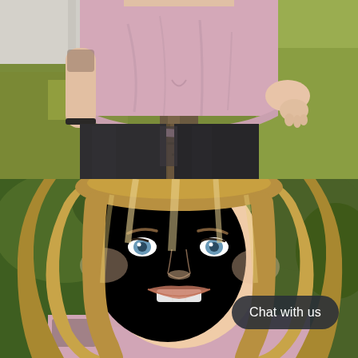[Figure (photo): Top half: outdoor photo of a person from neck to knees wearing a pink/mauve curved-hem t-shirt and dark black leggings, with a tattoo visible on the upper arm and a black bracelet on the wrist. Green grass, a sidewalk, and a tree trunk visible in the background.]
[Figure (photo): Bottom half: close-up portrait of a smiling young woman with long blonde highlighted hair and blue eyes, wearing a light pink tank top with a tattoo visible on the upper chest/shoulder area. Green trees visible in the background. A dark rounded 'Chat with us' button overlay is visible in the lower right.]
Chat with us